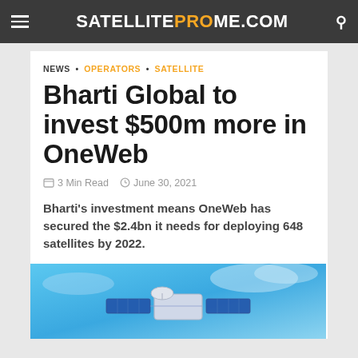SATELLITEPROME.COM
NEWS • OPERATORS • SATELLITE
Bharti Global to invest $500m more in OneWeb
3 Min Read   June 30, 2021
Bharti's investment means OneWeb has secured the $2.4bn it needs for deploying 648 satellites by 2022.
[Figure (photo): Satellite in orbit above Earth with blue sky background, showing satellite dish and solar panel]